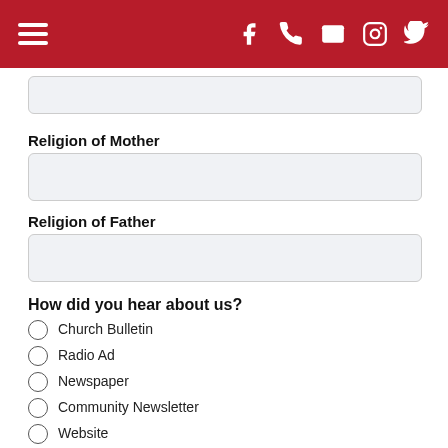[hamburger menu] [facebook] [phone] [email] [instagram] [twitter]
(partial input field)
Religion of Mother
(input field)
Religion of Father
(input field)
How did you hear about us?
Church Bulletin
Radio Ad
Newspaper
Community Newsletter
Website
Phone Book